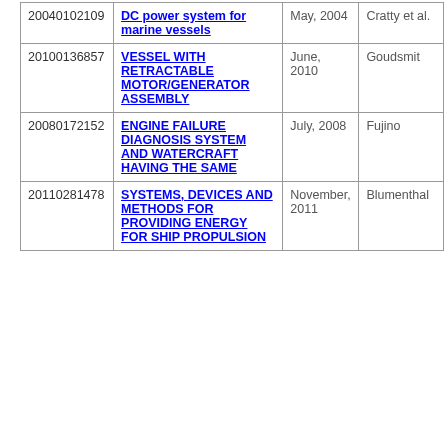| 20040102109 | DC power system for marine vessels | May, 2004 | Cratty et al. |
| 20100136857 | VESSEL WITH RETRACTABLE MOTOR/GENERATOR ASSEMBLY | June, 2010 | Goudsmit |
| 20080172152 | ENGINE FAILURE DIAGNOSIS SYSTEM AND WATERCRAFT HAVING THE SAME | July, 2008 | Fujino |
| 20110281478 | SYSTEMS, DEVICES AND METHODS FOR PROVIDING ENERGY FOR SHIP PROPULSION | November, 2011 | Blumenthal |